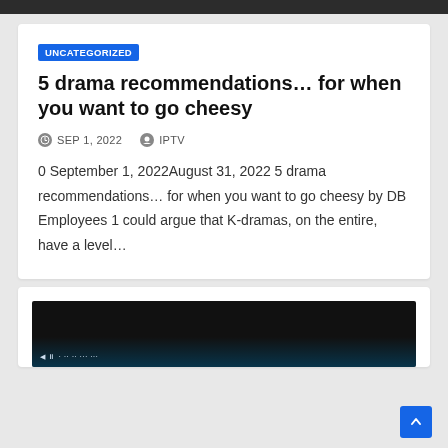UNCATEGORIZED
5 drama recommendations… for when you want to go cheesy
SEP 1, 2022   IPTV
0 September 1, 2022August 31, 2022 5 drama recommendations… for when you want to go cheesy by DB Employees 1 could argue that K-dramas, on the entire, have a level…
[Figure (screenshot): Dark video thumbnail preview at the bottom of the page]